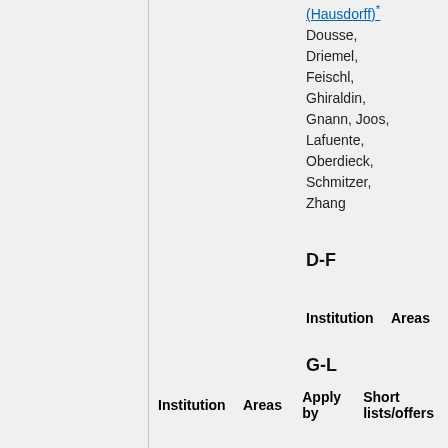(Hausdorff)* Dousse, Driemel, Feischl, Ghiraldin, Gnann, Joos, Lafuente, Oberdieck, Schmitzer, Zhang
D-F
| Institution | Areas | Apply by | Short lists/offers |
| --- | --- | --- | --- |
G-L
| Institution | Areas | Apply by | Short lists/offers |
| --- | --- | --- | --- |
M-P
| Institution | Areas | Apply by | Short lists/offers |
| --- | --- | --- | --- |
| U Mainz | algebraic geometry |  | Bayer, Ciocan- |
Bayer, Ciocan-